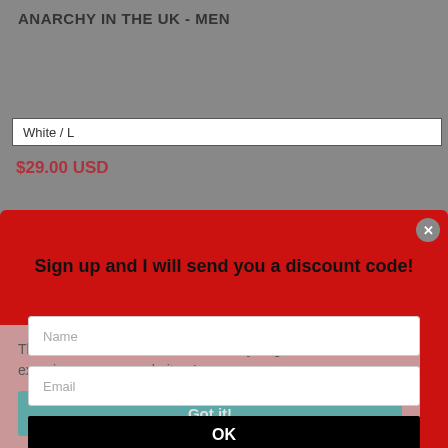ANARCHY IN THE UK - MEN
White / L
$29.00 USD
Sign up and I will send you a discount code!
Name
Email
OK
This website uses cookies to ensure you get the best experience on our website. Learn more
Got it!